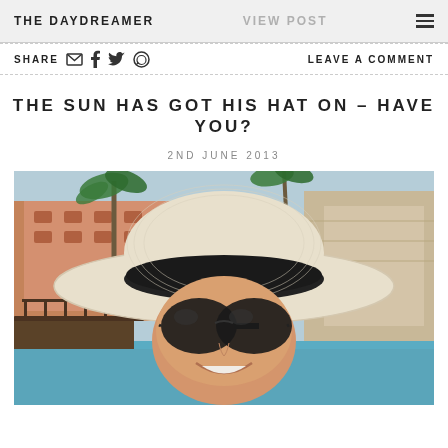THE DAYDREAMER  VIEW POST
SHARE  LEAVE A COMMENT
THE SUN HAS GOT HIS HAT ON – HAVE YOU?
2ND JUNE 2013
[Figure (photo): Woman wearing a wide-brimmed cream and black hat and dark sunglasses, smiling, photographed in front of a resort pool area with palm trees and Mediterranean-style architecture.]